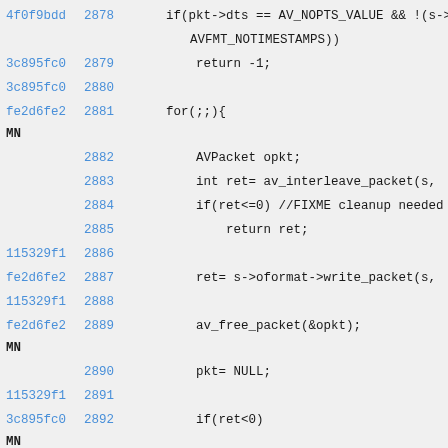[Figure (screenshot): Source code diff view showing C code lines 2878-2892 with git hash identifiers, line numbers, and code content including conditional checks, loops, and packet handling functions.]